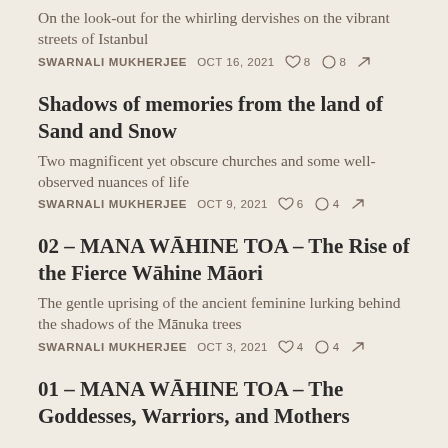On the look-out for the whirling dervishes on the vibrant streets of Istanbul
SWARNALI MUKHERJEE   OCT 16, 2021   ♡ 8   ○ 8   ↗
Shadows of memories from the land of Sand and Snow
Two magnificent yet obscure churches and some well-observed nuances of life
SWARNALI MUKHERJEE   OCT 9, 2021   ♡ 6   ○ 4   ↗
02 – MANA WĀHINE TOA – The Rise of the Fierce Wāhine Māori
The gentle uprising of the ancient feminine lurking behind the shadows of the Mānuka trees
SWARNALI MUKHERJEE   OCT 3, 2021   ♡ 4   ○ 4   ↗
01 – MANA WĀHINE TOA – The Goddesses, Warriors, and Mothers